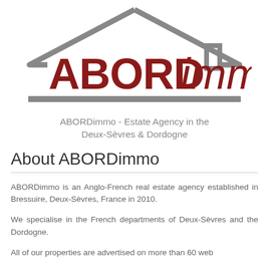[Figure (logo): ABORDimmo logo featuring a house outline in grey with the text ABORD in dark red/maroon bold capitals and 'immo' in dark red italic, with a horizontal grey bar beneath]
ABORDimmo - Estate Agency in the Deux-Sèvres & Dordogne
About ABORDimmo
ABORDimmo is an Anglo-French real estate agency established in Bressuire, Deux-Sèvres, France in 2010.
We specialise in the French departments of Deux-Sèvres and the Dordogne.
All of our properties are advertised on more than 60 web